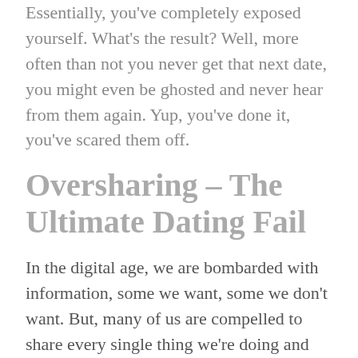Essentially, you've completely exposed yourself. What's the result? Well, more often than not you never get that next date, you might even be ghosted and never hear from them again. Yup, you've done it, you've scared them off.
Oversharing – The Ultimate Dating Fail
In the digital age, we are bombarded with information, some we want, some we don't want. But, many of us are compelled to share every single thing we're doing and who we're doing it with online. Privacy really is a rare commodity these